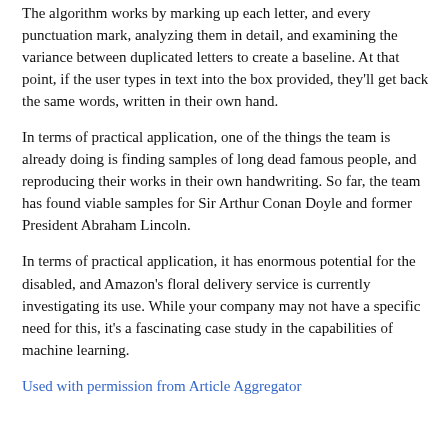The algorithm works by marking up each letter, and every punctuation mark, analyzing them in detail, and examining the variance between duplicated letters to create a baseline. At that point, if the user types in text into the box provided, they'll get back the same words, written in their own hand.
In terms of practical application, one of the things the team is already doing is finding samples of long dead famous people, and reproducing their works in their own handwriting. So far, the team has found viable samples for Sir Arthur Conan Doyle and former President Abraham Lincoln.
In terms of practical application, it has enormous potential for the disabled, and Amazon's floral delivery service is currently investigating its use. While your company may not have a specific need for this, it's a fascinating case study in the capabilities of machine learning.
Used with permission from Article Aggregator